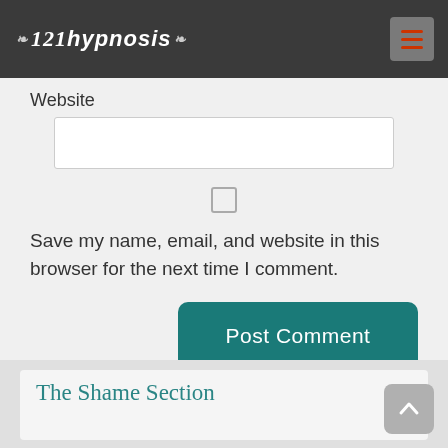121hypnosis
Website
Save my name, email, and website in this browser for the next time I comment.
Post Comment
The Shame Section
Shame isn't guilt, or low self-worth. It isn't always about something you've done,